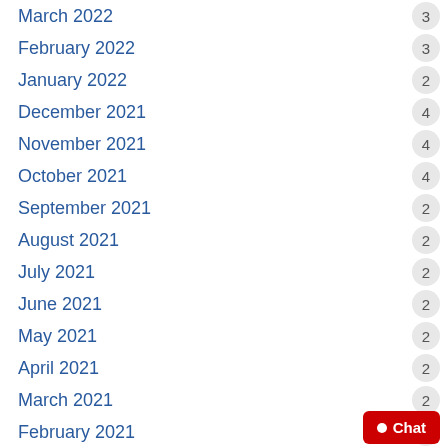March 2022  3
February 2022  3
January 2022  2
December 2021  4
November 2021  4
October 2021  4
September 2021  2
August 2021  2
July 2021  2
June 2021  2
May 2021  2
April 2021  2
March 2021  2
February 2021  1
December 2020  5
November 2020  2
October 2020  4
September 2020  5
August 2020  4
July 2020